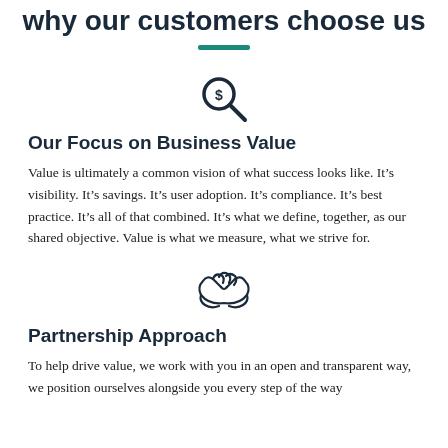why our customers choose us
[Figure (illustration): Magnifying glass with a dollar sign icon, dark navy color]
Our Focus on Business Value
Value is ultimately a common vision of what success looks like. It's visibility. It's savings. It's user adoption. It's compliance. It's best practice. It's all of that combined. It's what we define, together, as our shared objective. Value is what we measure, what we strive for.
[Figure (illustration): Two hands shaking (handshake icon), outline style]
Partnership Approach
To help drive value, we work with you in an open and transparent way, we position ourselves alongside you every step of the way